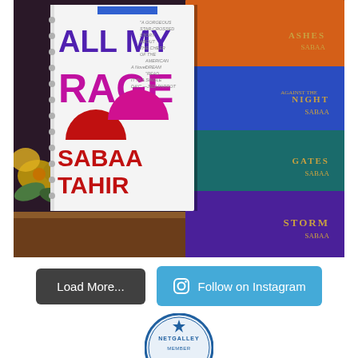[Figure (photo): Photo of the book 'All My Rage' by Sabaa Tahir propped up in front of a stack of other Sabaa Tahir books (Ashes, Night, Gates, Storm). Flowers visible on left side. Book cover is white with purple, pink/magenta, and red text.]
Load More...
Follow on Instagram
[Figure (logo): NetGalley Member circular badge/seal]